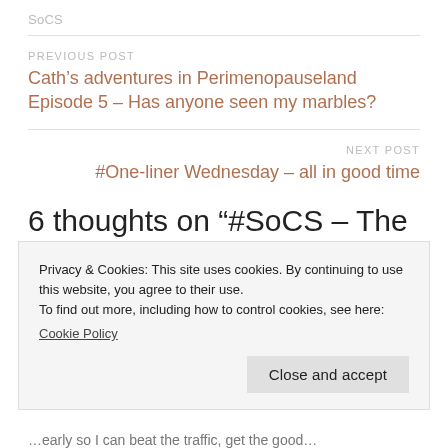SoCS
PREVIOUS POST
Cath’s adventures in Perimenopauseland Episode 5 – Has anyone seen my marbles?
NEXT POST
#One-liner Wednesday – all in good time
6 thoughts on “#SoCS – The power of the little voice”
Privacy & Cookies: This site uses cookies. By continuing to use this website, you agree to their use.
To find out more, including how to control cookies, see here:
Cookie Policy
Close and accept
…early so I can beat the traffic, get the good…